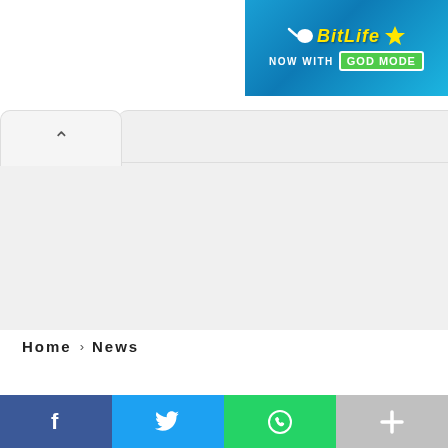[Figure (screenshot): BitLife app advertisement banner with blue background, sperm icon, yellow BitLife logo text, 'NOW WITH' text, and green GOD MODE badge]
[Figure (screenshot): A tabbed panel UI element with an up chevron arrow on a light gray tab, followed by a large light gray content area]
Home › News
[Figure (infographic): Social sharing bar with four buttons: Facebook (blue, f icon), Twitter (light blue, bird icon), WhatsApp (green, phone/chat icon), More (gray, plus icon)]